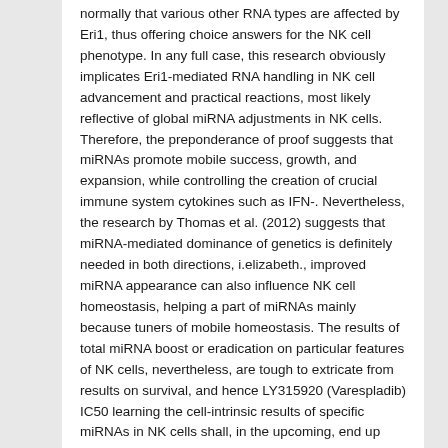normally that various other RNA types are affected by Eri1, thus offering choice answers for the NK cell phenotype. In any full case, this research obviously implicates Eri1-mediated RNA handling in NK cell advancement and practical reactions, most likely reflective of global miRNA adjustments in NK cells. Therefore, the preponderance of proof suggests that miRNAs promote mobile success, growth, and expansion, while controlling the creation of crucial immune system cytokines such as IFN-. Nevertheless, the research by Thomas et al. (2012) suggests that miRNA-mediated dominance of genetics is definitely needed in both directions, i.elizabeth., improved miRNA appearance can also influence NK cell homeostasis, helping a part of miRNAs mainly because tuners of mobile homeostasis. The results of total miRNA boost or eradication on particular features of NK cells, nevertheless, are tough to extricate from results on survival, and hence LY315920 (Varespladib) IC50 learning the cell-intrinsic results of specific miRNAs in NK cells shall, in the upcoming, end up being a even more successful approach to determining the results, goals, and systems of particular miRNAs. One essential caveat to these global miRNA amendment research is normally that the versions used are not really NK cell particular and may have an effect on progenitors and mature NK cells at different